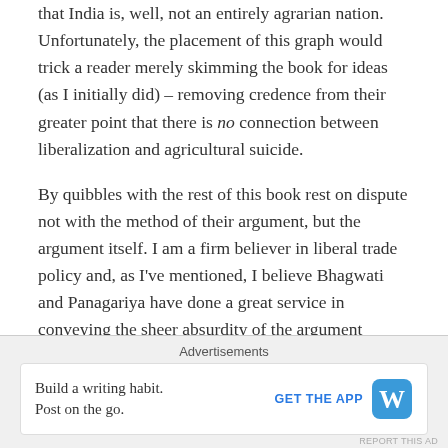that India is, well, not an entirely agrarian nation. Unfortunately, the placement of this graph would trick a reader merely skimming the book for ideas (as I initially did) – removing credence from their greater point that there is no connection between liberalization and agricultural suicide.
By quibbles with the rest of this book rest on dispute not with the method of their argument, but the argument itself. I am a firm believer in liberal trade policy and, as I've mentioned, I believe Bhagwati and Panagariya have done a great service in conveying the sheer absurdity of the argument against. We disagree in large part, however, regarding the role Indian government has to play in its
Advertisements
Build a writing habit. Post on the go.
GET THE APP